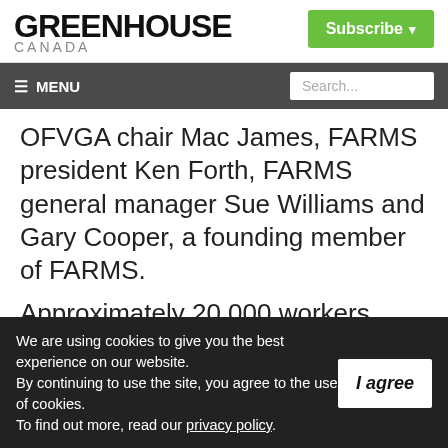GREENHOUSE CANADA
MENU
OFVGA chair Mac James, FARMS president Ken Forth, FARMS general manager Sue Williams and Gary Cooper, a founding member of FARMS.
Approximately 20,000 workers come to Canada every year through SAWP and many have been working on the same farm for 20 or 30 years.
We are using cookies to give you the best experience on our website. By continuing to use the site, you agree to the use of cookies. To find out more, read our privacy policy.